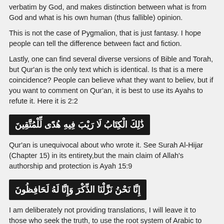verbatim by God, and makes distinction between what is from God and what is his own human (thus fallible) opinion.
This is not the case of Pygmalion, that is just fantasy. I hope people can tell the difference between fact and fiction.
Lastly, one can find several diverse versions of Bible and Torah, but Qur'an is the only text which is identical. Is that is a mere coincidence? People can believe what they want to believ, but if you want to comment on Qur'an, it is best to use its Ayahs to refute it. Here it is 2:2
[Figure (other): Arabic text in dark box: ذَٰلِكَ الْكِتَابُ لَا رَيْبَ فِيهِ هُدًى لِّلْمُتَّقِينَ]
Qur'an is unequivocal about who wrote it. See Surah Al-Hijar (Chapter 15) in its entirety,but the main claim of Allah's authorship and protection is Ayah 15:9
[Figure (other): Arabic text in dark box: إِنَّا نَحْنُ نَزَّلْنَا الذِّكْرَ وَإِنَّا لَهُ لَحَافِظُونَ]
I am deliberately not providing translations, I will leave it to those who seek the truth, to use the root system of Arabic to understand the meaning, or look up various translations with a grain of salt.